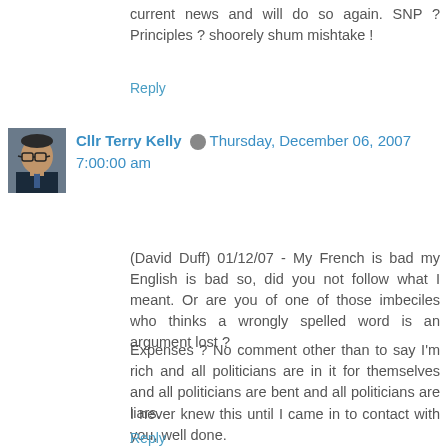current news and will do so again. SNP ? Principles ? shoorely shum mishtake !
Reply
Cllr Terry Kelly  Thursday, December 06, 2007 7:00:00 am
(David Duff) 01/12/07 - My French is bad my English is bad so, did you not follow what I meant. Or are you of one of those imbeciles who thinks a wrongly spelled word is an argument lost ?
Expenses ? No comment other than to say I'm rich and all politicians are in it for themselves and all politicians are bent and all politicians are liars.
I never knew this until I came in to contact with you, well done.
Reply